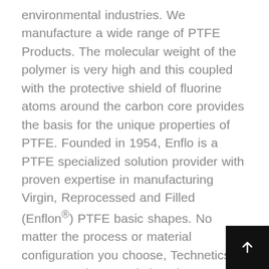environmental industries. We manufacture a wide range of PTFE Products. The molecular weight of the polymer is very high and this coupled with the protective shield of fluorine atoms around the carbon core provides the basis for the unique properties of PTFE. Founded in 1954, Enflo is a PTFE specialized solution provider with proven expertise in manufacturing Virgin, Reprocessed and Filled (Enflon®) PTFE basic shapes. No matter the process or material configuration you choose, Technetics PTFE & Polymer Solutions is committed to being a reliable, responsive partner, providing unmatched material and application expertise, and delivering products with exceptional purity, cleanliness and quality. Bronze-filled PTFE compounds have high thermal and electrical conductivity which is in tu make these compounds well fit for application w